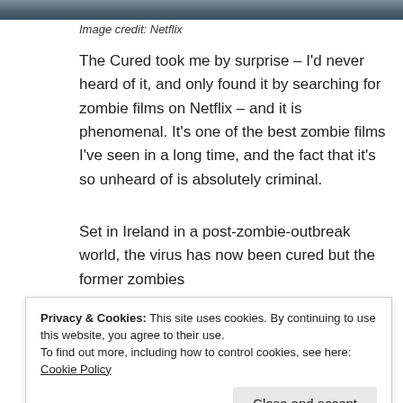[Figure (photo): Partial top of an image, dark bluish-grey tones, likely a scene from the movie The Cured on Netflix]
Image credit: Netflix
The Cured took me by surprise – I'd never heard of it, and only found it by searching for zombie films on Netflix – and it is phenomenal. It's one of the best zombie films I've seen in a long time, and the fact that it's so unheard of is absolutely criminal.
Set in Ireland in a post-zombie-outbreak world, the virus has now been cured but the former zombies
Privacy & Cookies: This site uses cookies. By continuing to use this website, you agree to their use.
To find out more, including how to control cookies, see here: Cookie Policy
When I saw that Ellen Page was in it, I was slightly